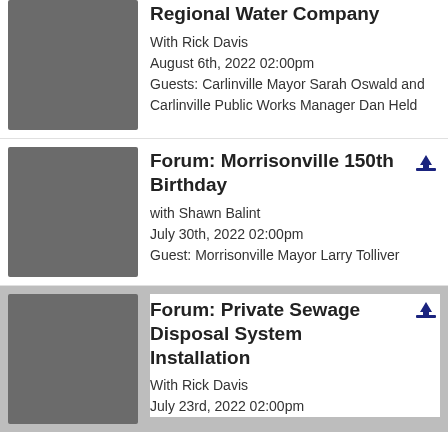[Figure (other): Video thumbnail play button for Regional Water Company forum]
Regional Water Company
With Rick Davis
August 6th, 2022 02:00pm
Guests: Carlinville Mayor Sarah Oswald and Carlinville Public Works Manager Dan Held
[Figure (other): Video thumbnail play button for Forum: Morrisonville 150th Birthday]
Forum: Morrisonville 150th Birthday
with Shawn Balint
July 30th, 2022 02:00pm
Guest: Morrisonville Mayor Larry Tolliver
[Figure (other): Video thumbnail play button for Forum: Private Sewage Disposal System Installation]
Forum: Private Sewage Disposal System Installation
With Rick Davis
July 23rd, 2022 02:00pm